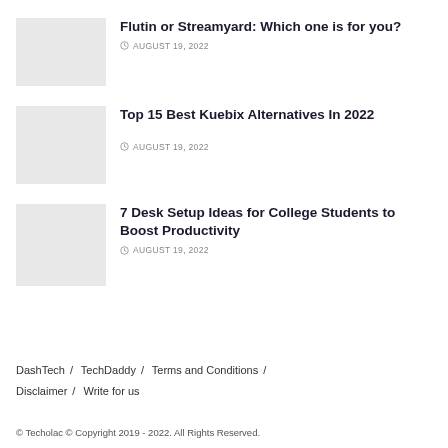Flutin or Streamyard: Which one is for you? — AUGUST 19, 2022
Top 15 Best Kuebix Alternatives In 2022 — AUGUST 19, 2022
7 Desk Setup Ideas for College Students to Boost Productivity — AUGUST 19, 2022
DashTech / TechDaddy / Terms and Conditions / Disclaimer / Write for us
© Techolac © Copyright 2019 - 2022. All Rights Reserved.